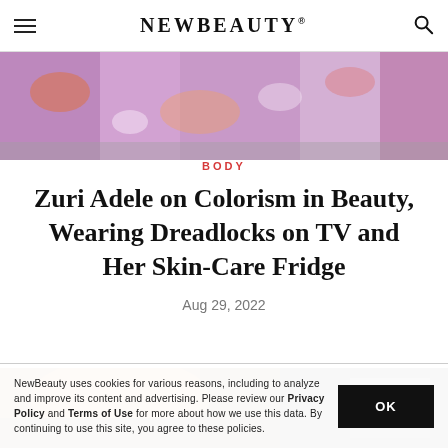NEWBEAUTY
[Figure (photo): Partial view of a colorful floral-patterned dress or skirt at the top of the page]
BODY
Zuri Adele on Colorism in Beauty, Wearing Dreadlocks on TV and Her Skin-Care Fridge
Aug 29, 2022
[Figure (photo): Blurred background photo, appears to show orange and dark tones, article illustration]
NewBeauty uses cookies for various reasons, including to analyze and improve its content and advertising. Please review our Privacy Policy and Terms of Use for more about how we use this data. By continuing to use this site, you agree to these policies.